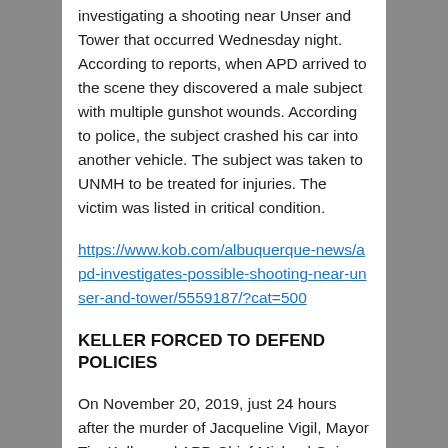investigating a shooting near Unser and Tower that occurred Wednesday night. According to reports, when APD arrived to the scene they discovered a male subject with multiple gunshot wounds. According to police, the subject crashed his car into another vehicle. The subject was taken to UNMH to be treated for injuries. The victim was listed in critical condition.
https://www.kob.com/albuquerque-news/apd-investigates-possible-shooting-near-unser-and-tower/5559187/?cat=500
KELLER FORCED TO DEFEND POLICIES
On November 20, 2019, just 24 hours after the murder of Jacqueline Vigil, Mayor Tim Keller and APD Chief Michael Geier held a press conference to address the soaring murder numbers as this year has now tied the all-time record for the number of murders in the city at 72. The news conference was somewhat uncomfortable with a somber Mayor Keller forced to defend policies on what APD is doing to reduce the murder rate.